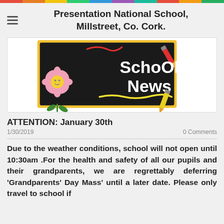Presentation National School, Millstreet, Co. Cork.
[Figure (illustration): School News illustration: black chalkboard with 'School News' written in white chalk-style text, decorated with a pink flower, red crayon at top, and yellow crayon at bottom.]
ATTENTION: January 30th
1/30/2019
0 Comments
Due to the weather conditions, school will not open until 10:30am .For the health and safety of all our pupils and their grandparents, we are regrettably deferring 'Grandparents' Day Mass' until a later date. Please only travel to school if